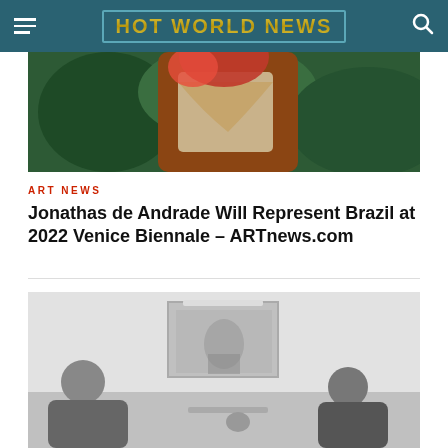HOT WORLD NEWS
[Figure (photo): Color photo showing a muscular figure with reddish hair, outdoors with green foliage background]
ART NEWS
Jonathas de Andrade Will Represent Brazil at 2022 Venice Biennale – ARTnews.com
[Figure (photo): Black and white photo showing people seated at a table in an interior space with framed artwork on the wall]